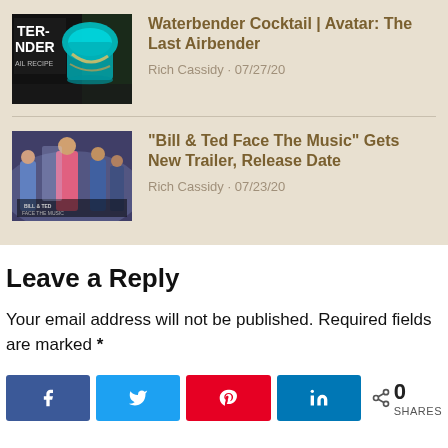[Figure (photo): Thumbnail image of a blue cocktail drink with Avatar Last Airbender branding]
Waterbender Cocktail | Avatar: The Last Airbender
Rich Cassidy · 07/27/20
[Figure (photo): Thumbnail image of Bill & Ted Face The Music movie poster with cast members]
“Bill & Ted Face The Music” Gets New Trailer, Release Date
Rich Cassidy · 07/23/20
Leave a Reply
Your email address will not be published. Required fields are marked *